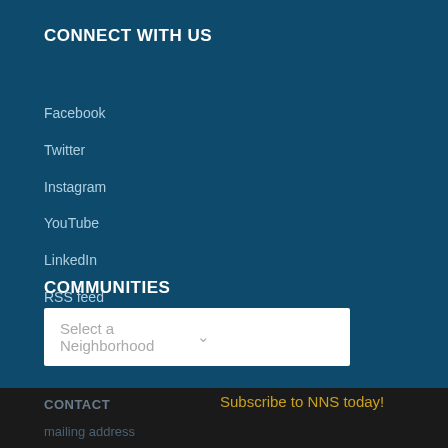CONNECT WITH US
Facebook
Twitter
Instagram
YouTube
LinkedIn
RSS feed
COMMUNITIES
Select a Neighborhood
CONTACT
Subscribe to NNS today!
mailing address